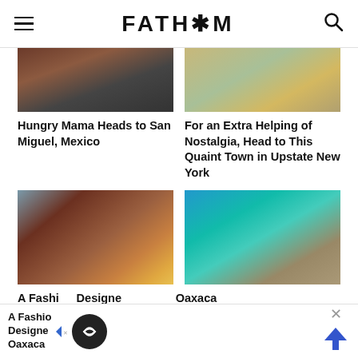FATH*M
[Figure (photo): Partial view of a hotel/restaurant interior with red barrel and water feature]
[Figure (photo): People at a colorful outdoor shop or market stall]
Hungry Mama Heads to San Miguel, Mexico
For an Extra Helping of Nostalgia, Head to This Quaint Town in Upstate New York
[Figure (photo): Woman in colorful dress walking past a large wooden door on a colorful street in Mexico]
[Figure (photo): Palm trees on a tropical beach with turquoise water]
A Fashion Designer Goes to Oaxaca